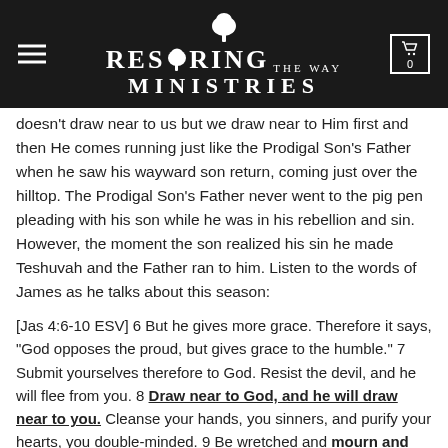Restoring the Way Ministries
doesn't draw near to us but we draw near to Him first and then He comes running just like the Prodigal Son's Father when he saw his wayward son return, coming just over the hilltop. The Prodigal Son's Father never went to the pig pen pleading with his son while he was in his rebellion and sin. However, the moment the son realized his sin he made Teshuvah and the Father ran to him. Listen to the words of James as he talks about this season:
[Jas 4:6-10 ESV] 6 But he gives more grace. Therefore it says, "God opposes the proud, but gives grace to the humble." 7 Submit yourselves therefore to God. Resist the devil, and he will flee from you. 8 Draw near to God, and he will draw near to you. Cleanse your hands, you sinners, and purify your hearts, you double-minded. 9 Be wretched and mourn and weep. Let your laughter be turned to mourning and your